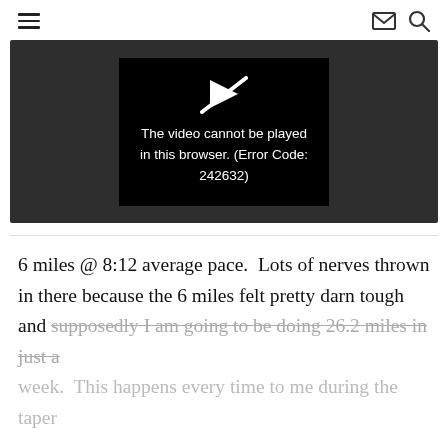≡  ✉ 🔍
[Figure (screenshot): Video player error screen. Dark gray background with centered black box showing a broken/strikethrough play button icon and the text: 'The video cannot be played in this browser. (Error Code: 242632)']
6 miles @ 8:12 average pace.  Lots of nerves thrown in there because the 6 miles felt pretty darn tough and supposedly I am going to be doing 26.2 miles in just a week.  This happens every time to me during the taper